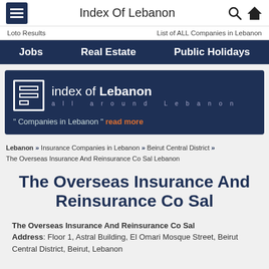Index Of Lebanon
Loto Results    List of ALL Companies in Lebanon
Jobs   Real Estate   Public Holidays
[Figure (logo): Index of Lebanon logo banner with icon, tagline 'all around Lebanon', and 'Companies in Lebanon' read more link]
Lebanon » Insurance Companies in Lebanon » Beirut Central District » The Overseas Insurance And Reinsurance Co Sal Lebanon
The Overseas Insurance And Reinsurance Co Sal
The Overseas Insurance And Reinsurance Co Sal
Address: Floor 1, Astral Building, El Omari Mosque Street, Beirut Central District, Beirut, Lebanon